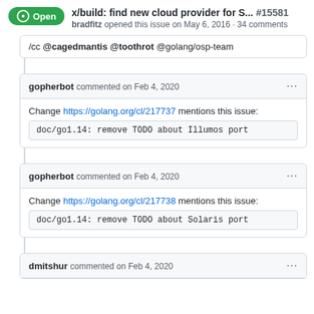x/build: find new cloud provider for S... #15581
bradfitz opened this issue on May 6, 2016 · 34 comments
/cc @cagedmantis @toothrot @golang/osp-team
gopherbot commented on Feb 4, 2020
Change https://golang.org/cl/217737 mentions this issue:
doc/go1.14: remove TODO about Illumos port
gopherbot commented on Feb 4, 2020
Change https://golang.org/cl/217738 mentions this issue:
doc/go1.14: remove TODO about Solaris port
dmitshur commented on Feb 4, 2020